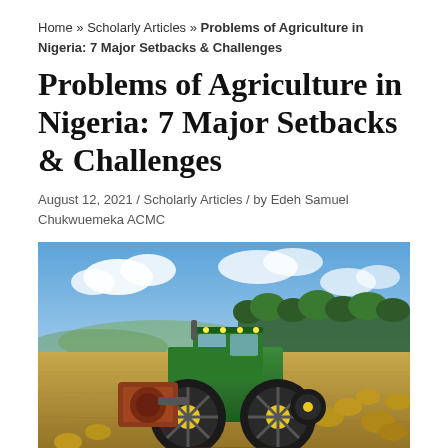Home » Scholarly Articles » Problems of Agriculture in Nigeria: 7 Major Setbacks & Challenges
Problems of Agriculture in Nigeria: 7 Major Setbacks & Challenges
August 12, 2021 / Scholarly Articles / by Edeh Samuel Chukwuemeka ACMC
[Figure (photo): A green John Deere tractor with yellow wheels working in a harvested hay field under a blue sky with clouds, trees visible in the background, hay bales scattered across the field.]